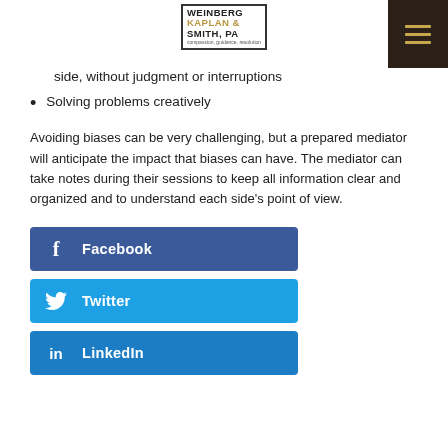[Figure (logo): Weinberg Kaplan & Smith PA law firm logo with tagline 'compassion, guidance, resolution']
side, without judgment or interruptions
Solving problems creatively
Avoiding biases can be very challenging, but a prepared mediator will anticipate the impact that biases can have. The mediator can take notes during their sessions to keep all information clear and organized and to understand each side's point of view.
Facebook
Twitter
LinkedIn